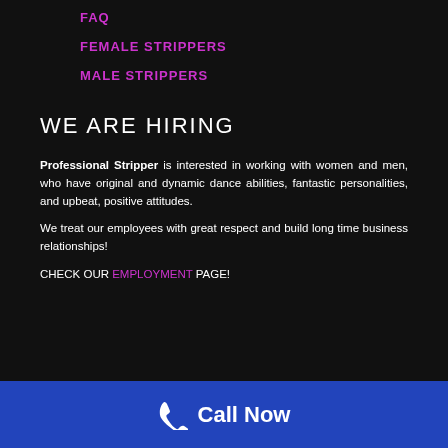FAQ
FEMALE STRIPPERS
MALE STRIPPERS
WE ARE HIRING
Professional Stripper is interested in working with women and men, who have original and dynamic dance abilities, fantastic personalities, and upbeat, positive attitudes.
We treat our employees with great respect and build long time business relationships!
CHECK OUR EMPLOYMENT PAGE!
Call Now